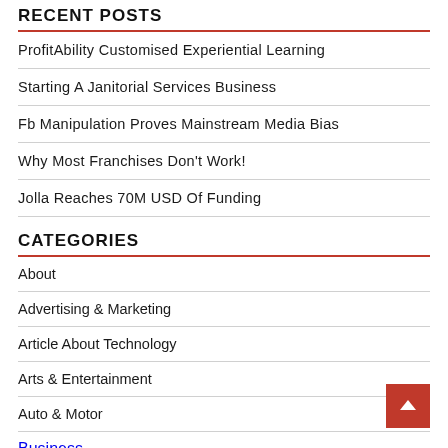RECENT POSTS
ProfitAbility Customised Experiential Learning
Starting A Janitorial Services Business
Fb Manipulation Proves Mainstream Media Bias
Why Most Franchises Don't Work!
Jolla Reaches 70M USD Of Funding
CATEGORIES
About
Advertising & Marketing
Article About Technology
Arts & Entertainment
Auto & Motor
Business